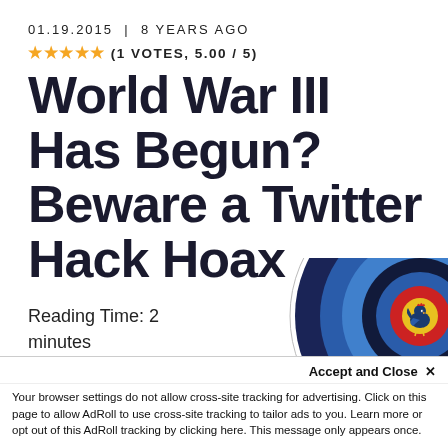01.19.2015 | 8 YEARS AGO
★★★★★ (1 VOTES, 5.00 / 5)
World War III Has Begun? Beware a Twitter Hack Hoax
Reading Time: 2 minutes
[Figure (illustration): Archery target with concentric rings of dark navy, blue, yellow, red, and gold center; a small cartoon rooster/chicken in the center gold ring. The target is partially cropped at right edge and bottom.]
Accept and Close ✕
Your browser settings do not allow cross-site tracking for advertising. Click on this page to allow AdRoll to use cross-site tracking to tailor ads to you. Learn more or opt out of this AdRoll tracking by clicking here. This message only appears once.